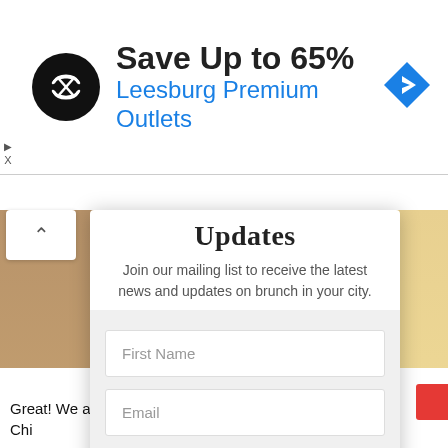[Figure (screenshot): Advertisement banner: black circular logo with double arrow symbol, text 'Save Up to 65%' in bold dark, 'Leesburg Premium Outlets' in blue, blue diamond navigation icon top right, play/close controls top left]
Updates
Join our mailing list to receive the latest news and updates on brunch in your city.
First Name
Email
SUBSCRIBE!
Great! We are the go to resource for best brunch
Chi...